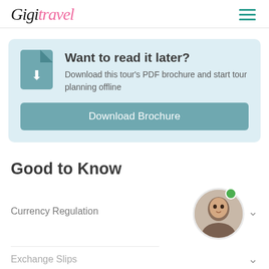GigiTravel [logo with hamburger menu]
Want to read it later? Download this tour's PDF brochure and start tour planning offline
Download Brochure
Good to Know
Currency Regulation
Exchange Slips